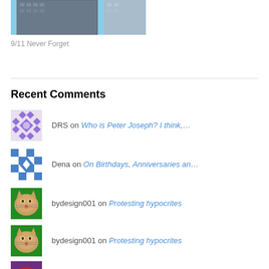[Figure (photo): Partial view of two tall buildings (Twin Towers) against a blue sky, cropped at top]
9/11 Never Forget
Recent Comments
DRS on Who is Peter Joseph? I think,…
Dena on On Birthdays, Anniversaries an…
bydesign001 on Protesting hypocrites
bydesign001 on Protesting hypocrites
AFVet on What We Didn't Know About the…